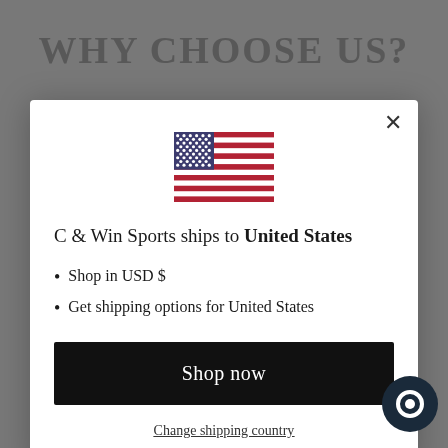WHY CHOOSE US?
[Figure (illustration): US flag SVG icon centered in modal]
C & Win Sports ships to United States
Shop in USD $
Get shipping options for United States
Shop now
Change shipping country
Reason One
Our Mission: